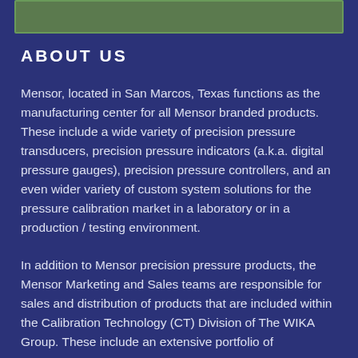[Figure (other): Green rectangular bar at top of page]
ABOUT US
Mensor, located in San Marcos, Texas functions as the manufacturing center for all Mensor branded products. These include a wide variety of precision pressure transducers, precision pressure indicators (a.k.a. digital pressure gauges), precision pressure controllers, and an even wider variety of custom system solutions for the pressure calibration market in a laboratory or in a production / testing environment.
In addition to Mensor precision pressure products, the Mensor Marketing and Sales teams are responsible for sales and distribution of products that are included within the Calibration Technology (CT) Division of The WIKA Group. These include an extensive portfolio of